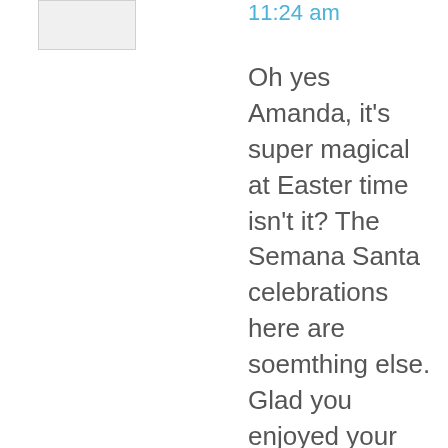[Figure (other): Avatar placeholder box (white/light gray rectangle)]
11:24 am
Oh yes Amanda, it's super magical at Easter time isn't it? The Semana Santa celebrations here are soemthing else. Glad you enjoyed your time and are planning to go back. Enjoy,